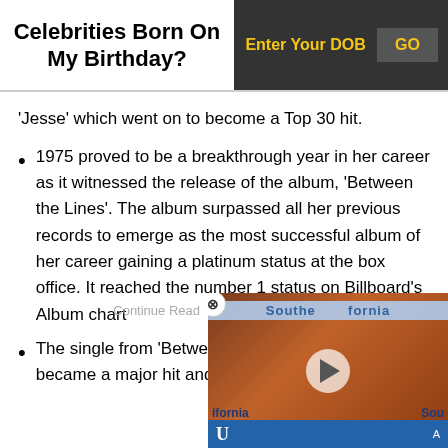Celebrities Born On My Birthday?
‘Jesse’ which went on to become a Top 30 hit.
1975 proved to be a breakthrough year in her career as it witnessed the release of the album, ‘Between the Lines’. The album surpassed all her previous records to emerge as the most successful album of her career gaining a platinum status at the box office. It reached the number 1 status on Billboard’s Album chart
The single from ‘Between th… became a major hit and rec…